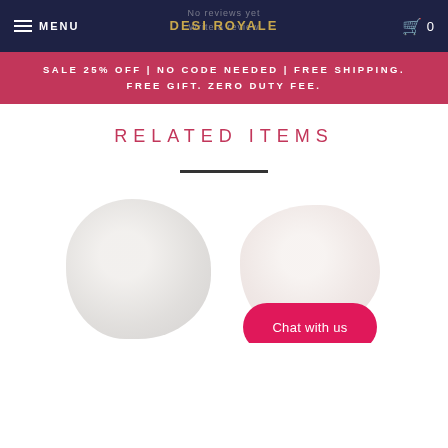MENU | DESI ROYALE | 0
SALE 25% OFF | NO CODE NEEDED | FREE SHIPPING. FREE GIFT. ZERO DUTY FEE.
RELATED ITEMS
[Figure (photo): Two blurred product images of rings or similar jewelry items side by side, with a 'Chat with us' button overlay on the right]
Ghost overlay text (No reviews yet / Write a review)